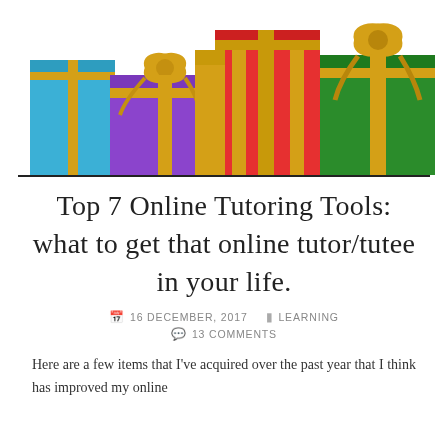[Figure (illustration): Colorful wrapped gift boxes with ribbons and bows in blue, purple, red, gold, and green colors on a white background.]
Top 7 Online Tutoring Tools: what to get that online tutor/tutee in your life.
16 DECEMBER, 2017   LEARNING   13 COMMENTS
Here are a few items that I've acquired over the past year that I think has improved my online